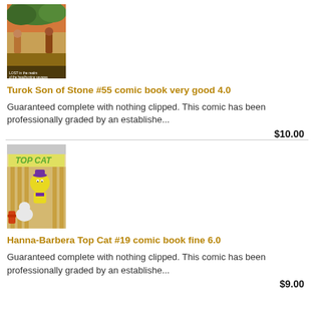[Figure (illustration): Comic book cover for Turok Son of Stone #55 showing a jungle/battle scene]
Turok Son of Stone #55 comic book very good 4.0
Guaranteed complete with nothing clipped. This comic has been professionally graded by an establishe...
$10.00
[Figure (illustration): Comic book cover for Hanna-Barbera Top Cat #19 showing Top Cat cartoon character]
Hanna-Barbera Top Cat #19 comic book fine 6.0
Guaranteed complete with nothing clipped. This comic has been professionally graded by an establishe...
$9.00